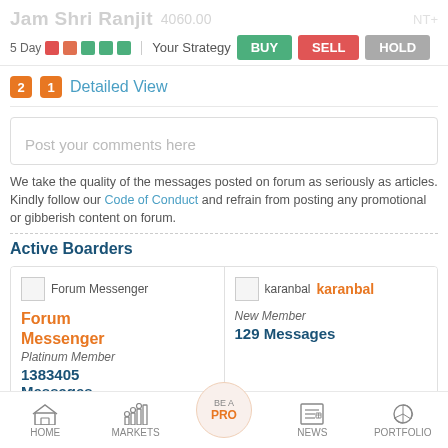Jam Shri Ranjit  4060.00  NT+
5 Day  Your Strategy  BUY  SELL  HOLD
2  1  Detailed View
Post your comments here
We take the quality of the messages posted on forum as seriously as articles. Kindly follow our Code of Conduct and refrain from posting any promotional or gibberish content on forum.
Active Boarders
Forum Messenger
Forum Messenger
Platinum Member
1383405 Messages
karanbal
karanbal
New Member
129 Messages
HOME  MARKETS  BE A PRO  NEWS  PORTFOLIO